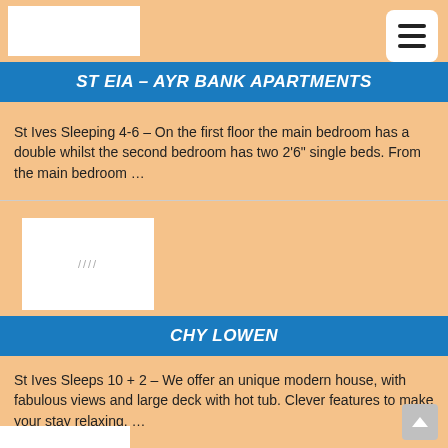[Figure (logo): White rectangle logo placeholder in top left]
[Figure (other): Hamburger menu icon (three horizontal lines) in white rounded square, top right]
ST EIA – AYR BANK APARTMENTS
St Ives Sleeping 4-6 – On the first floor the main bedroom has a double whilst the second bedroom has two 2'6" single beds. From the main bedroom …
[Figure (photo): White rectangle image placeholder with small grey image loading indicator dots]
CHY LOWEN
St Ives Sleeps 10 + 2 – We offer an unique modern house, with fabulous views and large deck with hot tub. Clever features to make your stay relaxing. …
[Figure (photo): Partial white rectangle thumbnail at bottom left, partially cut off]